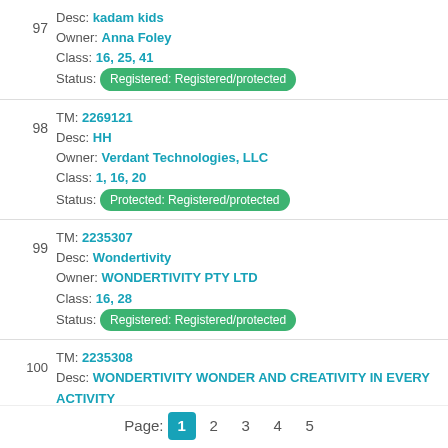97 Desc: kadam kids Owner: Anna Foley Class: 16, 25, 41 Status: Registered: Registered/protected
98 TM: 2269121 Desc: HH Owner: Verdant Technologies, LLC Class: 1, 16, 20 Status: Protected: Registered/protected
99 TM: 2235307 Desc: Wondertivity Owner: WONDERTIVITY PTY LTD Class: 16, 28 Status: Registered: Registered/protected
100 TM: 2235308 Desc: WONDERTIVITY WONDER AND CREATIVITY IN EVERY ACTIVITY Owner: WONDERTIVITY PTY LTD. Class: 16, 28 Status: Registered: Registered/protected
Page: 1 2 3 4 5